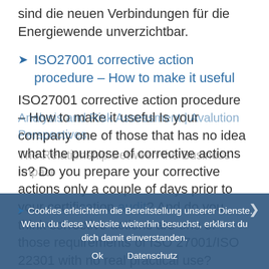sind die neuen Verbindungen für die Energiewende unverzichtbar.
ISO27001 corrective action procedure – How to make it useful
ISO27001 corrective action procedure – How to make it useful Is your company one of those that has no idea what the purpose of corrective actions is? Do you prepare your corrective actions only a couple of days prior to your certification audit? And do you think corrective actions are one of those requirements of ISO 27001/ISO 22301 with no real practical use?
Analysis and Risk Assessment | Avalution Perspectives
The Relationship Between the Business Impact Analysis and Risk Assessment | Avalution
Cookies erleichtern die Bereitstellung unserer Dienste. Wenn du diese Website weiterhin besuchst, erklärst du dich damit einverstanden.
Ok    Datenschutz